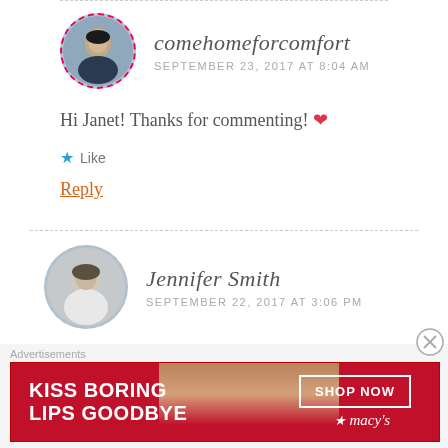comehomeforcomfort
SEPTEMBER 23, 2017 AT 8:04 AM
Hi Janet! Thanks for commenting! ❤
★ Like
Reply
Jennifer Smith
SEPTEMBER 22, 2017 AT 3:06 PM
Advertisements
[Figure (photo): Macy's advertisement banner: KISS BORING LIPS GOODBYE with SHOP NOW button and Macy's logo, featuring a close-up of red lips]